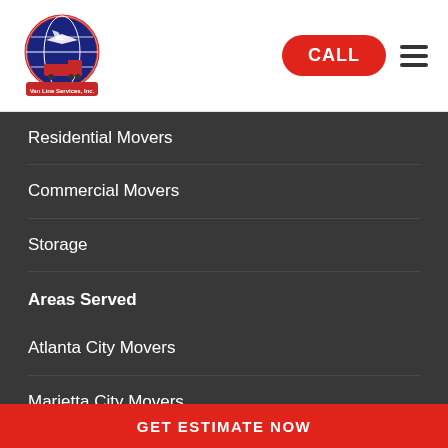[Figure (logo): Air Land Sea Van Line Services, Inc. company logo with globe and truck imagery]
CALL
Residential Movers
Commercial Movers
Storage
Areas Served
Atlanta City Movers
Marietta City Movers
Alpharetta City Movers
Roswell City Movers
View All
Helpful Links
GET ESTIMATE NOW